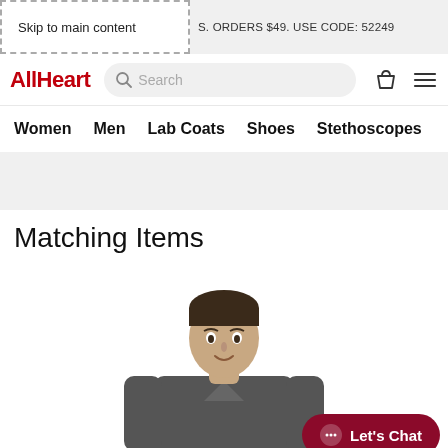Skip to main content
S. ORDERS $49. USE CODE: 52249
AllHeart  Search
Women  Men  Lab Coats  Shoes  Stethoscopes
Matching Items
[Figure (photo): Male model wearing dark grey scrubs top, smiling, photo on white background]
Let's Chat